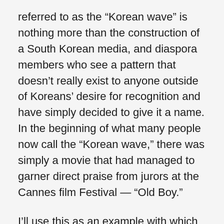referred to as the “Korean wave” is nothing more than the construction of a South Korean media, and diaspora members who see a pattern that doesn’t really exist to anyone outside of Koreans’ desire for recognition and have simply decided to give it a name. In the beginning of what many people now call the “Korean wave,” there was simply a movie that had managed to garner direct praise from jurors at the Cannes film Festival — “Old Boy.”
I’ll use this as an example with which to explain what I’m talking about. In order to understand the phenomenon of what Koreans call “cultural exports” and the so-called “culture industries,” one has to see things in the larger picture and without the distorting lens of ethnic nationalism. To be completely frank about the history of Korean films, it is safe to say that until the late 1990s, there weren’t that many Korean films worth anyone’s interest who wasn’t already intimately involved with Korea